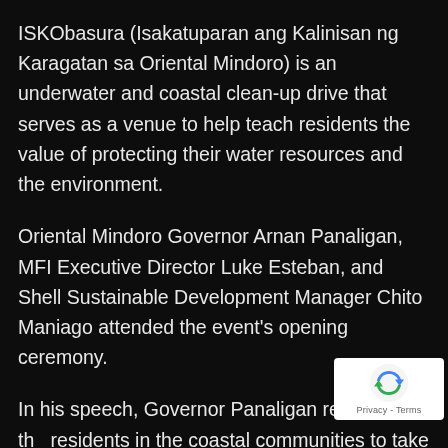ISKObasura (Isakatuparan ang Kalinisan ng Karagatan sa Oriental Mindoro) is an underwater and coastal clean-up drive that serves as a venue to help teach residents the value of protecting their water resources and the environment.
Oriental Mindoro Governor Arnan Panaligan, MFI Executive Director Luke Esteban, and Shell Sustainable Development Manager Chito Maniago attended the event's opening ceremony.
In his speech, Governor Panaligan reminded the residents in the coastal communities to take good care of the sea, the coastline, and their
[Figure (logo): reCAPTCHA badge with blue recycle-arrows logo and 'Privacy - Terms' text]